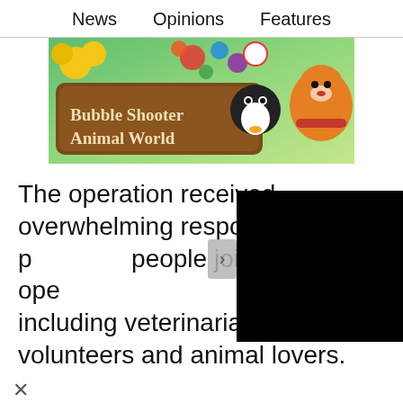News    Opinions    Features
[Figure (illustration): Bubble Shooter Animal World game advertisement banner with cartoon animals and colorful bubbles on green background]
The operation received overwhelming response from the public, as people joined the operation, including veterinarians, volunteers and animal lovers.
[Figure (screenshot): Black video player overlay with arrow/chevron button]
[Figure (illustration): Bubble Shooter Animal World game advertisement banner at bottom with Play Now text]